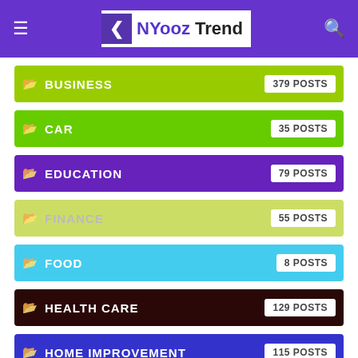NYooz Trend
BUSINESS 379 POSTS
CAR 35 POSTS
EDUCATION 79 POSTS
FINANCE 55 POSTS
FOOD 8 POSTS
HEALTH CARE 129 POSTS
HOME IMPROVEMENT 115 POSTS